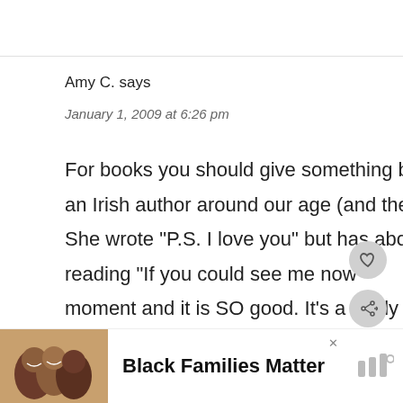Amy C. says
January 1, 2009 at 6:26 pm
For books you should give something by Cecelia Ahern a try. She’s an Irish author around our age (and the daughter of Ireland’s PM). She wrote “P.S. I love you” but has about 4 other books as well. I’m reading “If you could see me now” moment and it is SO good. It’s a really
[Figure (screenshot): Heart (like) button icon in a grey circle]
[Figure (screenshot): Share button icon in a grey circle]
[Figure (photo): What's Next panel showing stuffed peppers thumbnail with label 'WHAT'S NEXT' and text 'Stuffed Peppers,...']
[Figure (infographic): Ad banner: photo of three smiling people on left; text 'Black Families Matter' in bold; close X button; logo on right]